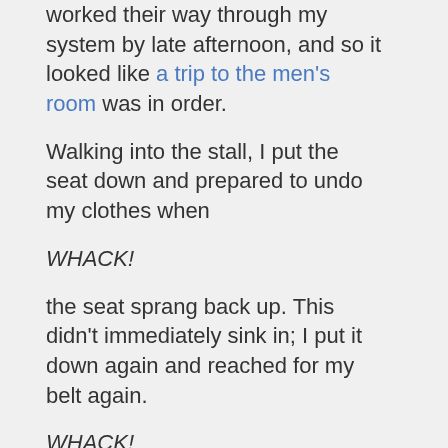worked their way through my system by late afternoon, and so it looked like a trip to the men's room was in order.
Walking into the stall, I put the seat down and prepared to undo my clothes when
WHACK!
the seat sprang back up. This didn't immediately sink in; I put it down again and reached for my belt again.
WHACK!
Some sadistic bastard had spring-loaded the toilet seat so that it jumps back up to vertical the moment anyone lets go. Some sadistic bastard had designed the seat to operate that way, and the United States Patent